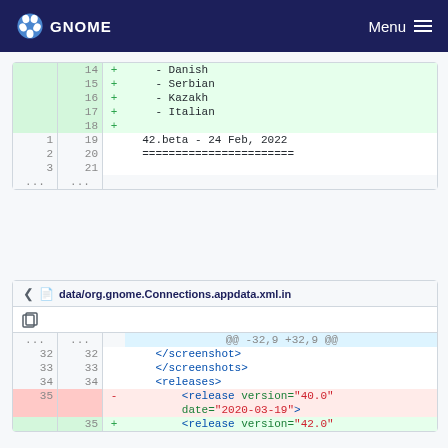GNOME  Menu
| old | new |  | code |
| --- | --- | --- | --- |
|  | 14 | + |     - Danish |
|  | 15 | + |     - Serbian |
|  | 16 | + |     - Kazakh |
|  | 17 | + |     - Italian |
|  | 18 | + |  |
| 1 | 19 |  | 42.beta - 24 Feb, 2022 |
| 2 | 20 |  | ======================= |
| 3 | 21 |  |  |
| ... | ... |  |  |
data/org.gnome.Connections.appdata.xml.in
| old | new |  | code |
| --- | --- | --- | --- |
| ... | ... |  | @@ -32,9 +32,9 @@ |
| 32 | 32 |  |     </screenshot> |
| 33 | 33 |  |     </screenshots> |
| 34 | 34 |  |     <releases> |
| 35 |  | - |         <release version="40.0" date="2020-03-19"> |
|  | 35 | + |         <release version="42.0" |